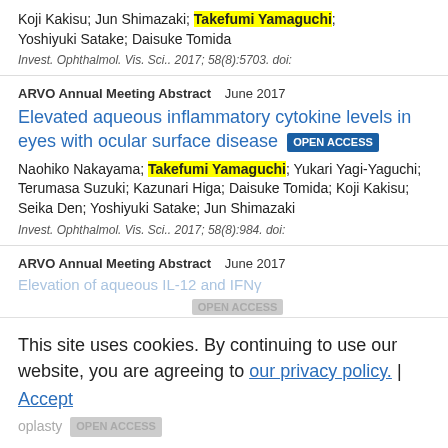Koji Kakisu; Jun Shimazaki; Takefumi Yamaguchi; Yoshiyuki Satake; Daisuke Tomida
Invest. Ophthalmol. Vis. Sci.. 2017; 58(8):5703. doi:
ARVO Annual Meeting Abstract   June 2017
Elevated aqueous inflammatory cytokine levels in eyes with ocular surface disease OPEN ACCESS
Naohiko Nakayama; Takefumi Yamaguchi; Yukari Yagi-Yaguchi; Terumasa Suzuki; Kazunari Higa; Daisuke Tomida; Koji Kakisu; Seika Den; Yoshiyuki Satake; Jun Shimazaki
Invest. Ophthalmol. Vis. Sci.. 2017; 58(8):984. doi:
ARVO Annual Meeting Abstract   June 2017
Elevation of aqueous IL-12 and IFNy
This site uses cookies. By continuing to use our website, you are agreeing to our privacy policy. Accept
oplasty OPEN ACCESS